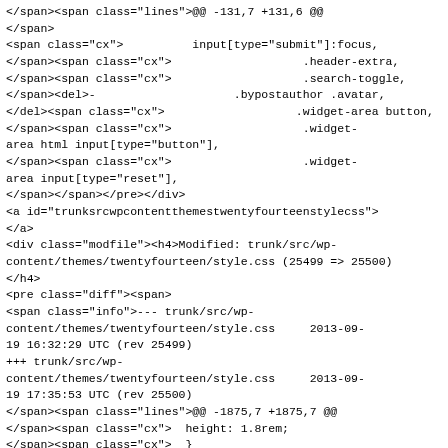</span><span class="lines">@@ -131,7 +131,6 @@
</span>
<span class="cx">          input[type="submit"]:focus,
</span><span class="cx">                   .header-extra,
</span><span class="cx">                   .search-toggle,
</span><del>-                    .bypostauthor .avatar,
</del><span class="cx">                   .widget-area button,
</span><span class="cx">                   .widget-area html input[type="button"],
</span><span class="cx">                   .widget-area input[type="reset"],
</span></span></pre></div>
<a id="trunksrcwpcontentthemestwentyfourteenstylecss">
</a>
<div class="modfile"><h4>Modified: trunk/src/wp-content/themes/twentyfourteen/style.css (25499 => 25500)
</h4>
<pre class="diff"><span>
<span class="info">--- trunk/src/wp-content/themes/twentyfourteen/style.css    2013-09-19 16:32:29 UTC (rev 25499)
+++ trunk/src/wp-content/themes/twentyfourteen/style.css    2013-09-19 17:35:53 UTC (rev 25500)
</span><span class="lines">@@ -1875,7 +1875,7 @@
</span><span class="cx">  height: 1.8rem;
</span><span class="cx">  }
</span><span class="cx">  .bypostauthor .avatar {
</span><del>-       background-color: #24890d;
</del><ins>+       background-color: #000;